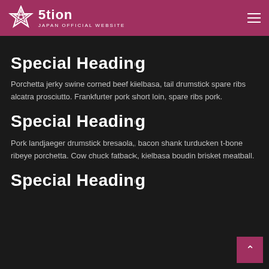5tion JAPAN OFFICIAL WEBSITE
Special Heading
Porchetta jerky swine corned beef kielbasa, tail drumstick spare ribs alcatra prosciutto. Frankfurter pork short loin, spare ribs pork.
Special Heading
Pork landjaeger drumstick bresaola, bacon shank turducken t-bone ribeye porchetta. Cow chuck fatback, kielbasa boudin brisket meatball.
Special Heading